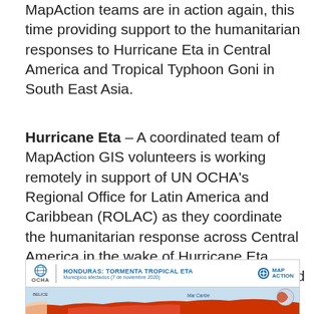MapAction teams are in action again, this time providing support to the humanitarian responses to Hurricane Eta in Central America and Tropical Typhoon Goni in South East Asia.
Hurricane Eta – A coordinated team of MapAction GIS volunteers is working remotely in support of UN OCHA's Regional Office for Latin America and Caribbean (ROLAC) as they coordinate the humanitarian response across Central America in the wake of Hurricane Eta. Over 1.8 million people have been affected across Nicaragua, Honduras, Guatemala, El Salvador and Belize.
[Figure (map): Honduras: Tormenta Tropical ETA - Municipios afectados (7 de noviembre 2020). A map showing affected municipalities in Honduras and surrounding regions, produced by OCHA and MapAction. Shows red/orange shading over affected areas including Honduras, with labels for Belice, Mar Caribe, Guatemala.]